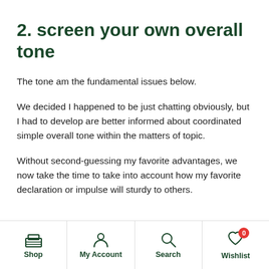2. screen your own overall tone
The tone am the fundamental issues below.
We decided I happened to be just chatting obviously, but I had to develop are better informed about coordinated simple overall tone within the matters of topic.
Without second-guessing my favorite advantages, we now take the time to take into account how my favorite declaration or impulse will sturdy to others.
Shop | My Account | Search | Wishlist